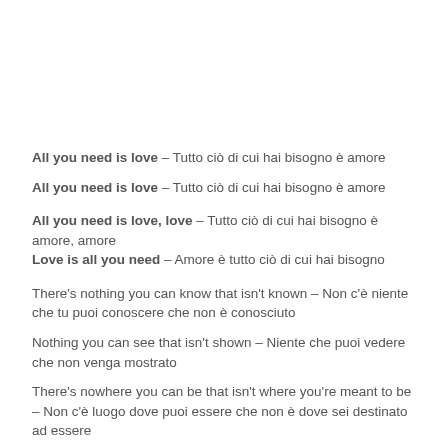All you need is love – Tutto ciò di cui hai bisogno è amore
All you need is love – Tutto ciò di cui hai bisogno è amore
All you need is love, love – Tutto ciò di cui hai bisogno è amore, amore
Love is all you need – Amore è tutto ciò di cui hai bisogno
There's nothing you can know that isn't known – Non c'è niente che tu puoi conoscere che non è conosciuto
Nothing you can see that isn't shown – Niente che puoi vedere che non venga mostrato
There's nowhere you can be that isn't where you're meant to be – Non c'è luogo dove puoi essere che non è dove sei destinato ad essere